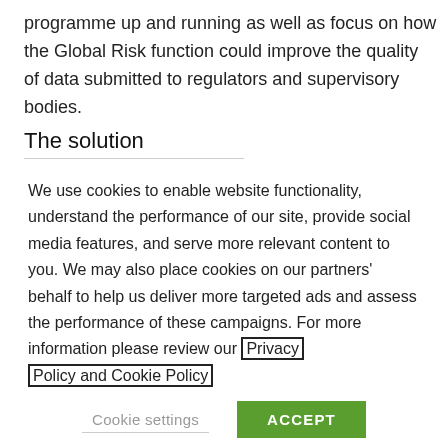programme up and running as well as focus on how the Global Risk function could improve the quality of data submitted to regulators and supervisory bodies.
The solution
We use cookies to enable website functionality, understand the performance of our site, provide social media features, and serve more relevant content to you. We may also place cookies on our partners' behalf to help us deliver more targeted ads and assess the performance of these campaigns. For more information please review our Privacy Policy and Cookie Policy
Cookie settings
ACCEPT